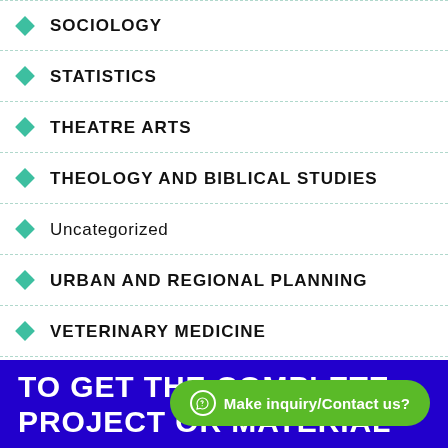SOCIOLOGY
STATISTICS
THEATRE ARTS
THEOLOGY AND BIBLICAL STUDIES
Uncategorized
URBAN AND REGIONAL PLANNING
VETERINARY MEDICINE
TO GET THE COMPLETE PROJECT OR MATERIAL
Make inquiry/Contact us?